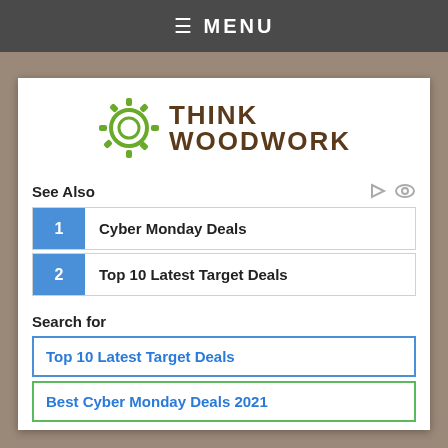≡ MENU
[Figure (logo): Think Woodwork logo with green gear icon and brown text]
See Also
1 Cyber Monday Deals
2 Top 10 Latest Target Deals
Search for
Top 10 Latest Target Deals
Best Cyber Monday Deals 2021